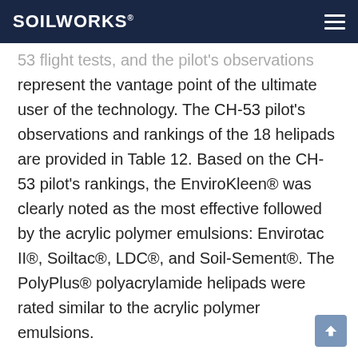SOILWORKS
53 flight tests, and the pilot's observations represent the vantage point of the ultimate user of the technology. The CH-53 pilot's observations and rankings of the 18 helipads are provided in Table 12. Based on the CH-53 pilot's rankings, the EnviroKleen® was clearly noted as the most effective followed by the acrylic polymer emulsions: Envirotac II®, Soiltac®, LDC®, and Soil-Sement®. The PolyPlus® polyacrylamide helipads were rated similar to the acrylic polymer emulsions.